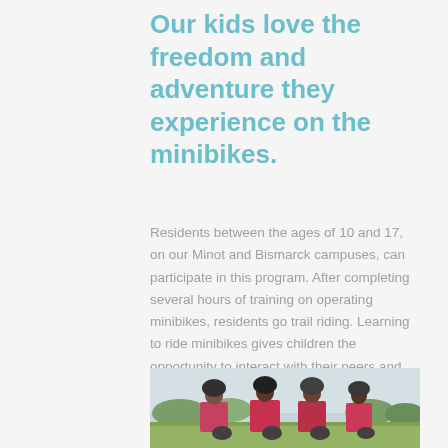Our kids love the freedom and adventure they experience on the minibikes.
Residents between the ages of 10 and 17, on our Minot and Bismarck campuses, can participate in this program. After completing several hours of training on operating minibikes, residents go trail riding. Learning to ride minibikes gives children the opportunity to interact with their peers and leaders in a positive way, helping to build their confidence and self-esteem.
[Figure (photo): Group of children wearing helmets and pink shirts on minibikes on a grassy field]